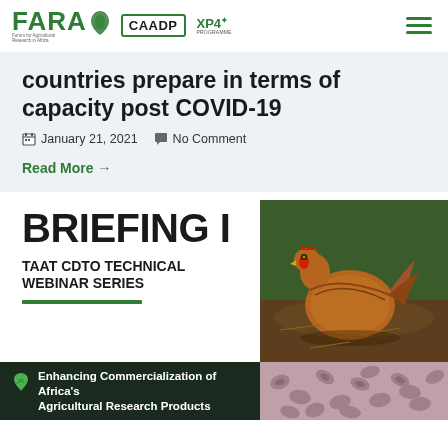FARA | CAADP XP4 PROGRAMME
countries prepare in terms of capacity post COVID-19
January 21, 2021   No Comment
Read More →
BRIEFING I
TAAT CDTO TECHNICAL WEBINAR SERIES
[Figure (photo): Close-up photo of a brown chicken/hen]
Enhancing Commercialization of Africa's Agricultural Research Products